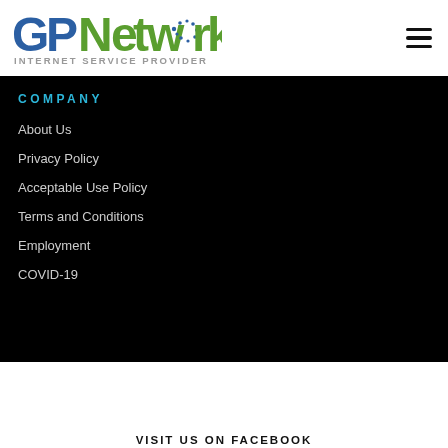[Figure (logo): GPNetworks Internet Service Provider logo with blue and green text and dotted globe graphic]
COMPANY
About Us
Privacy Policy
Acceptable Use Policy
Terms and Conditions
Employment
COVID-19
VISIT US ON FACEBOOK